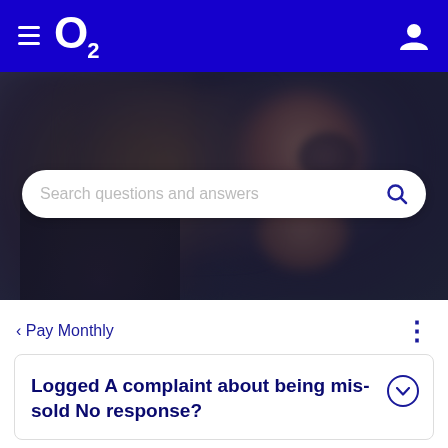O2 navigation bar with hamburger menu and user icon
[Figure (photo): Blurred dark background photo showing people, possibly looking at phones. A search bar overlaid in the center reads 'Search questions and answers' with a magnifying glass icon.]
< Pay Monthly
Logged A complaint about being mis-sold No response?